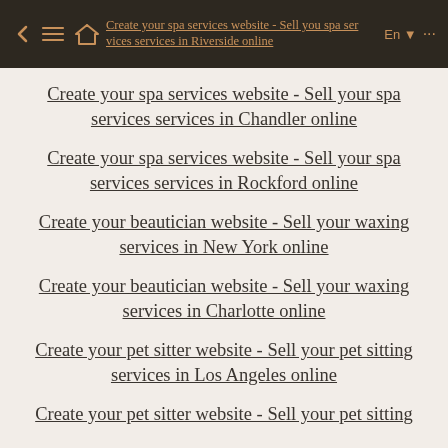Create your spa services website - Sell your spa services services in Riverside online
Create your spa services website - Sell your spa services services in Chandler online
Create your spa services website - Sell your spa services services in Rockford online
Create your beautician website - Sell your waxing services in New York online
Create your beautician website - Sell your waxing services in Charlotte online
Create your pet sitter website - Sell your pet sitting services in Los Angeles online
Create your pet sitter website - Sell your pet sitting services in...